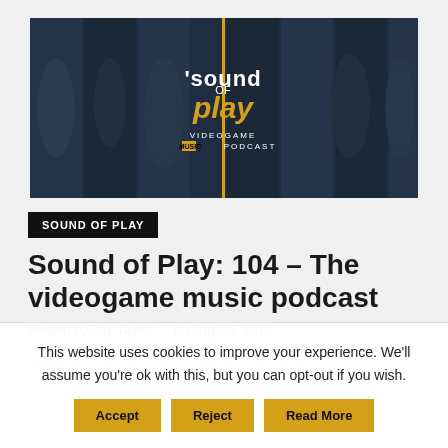[Figure (illustration): Sound of Play podcast banner image showing various video game characters in black and white panels with 'sound of play' logo in the center, subtitle 'VIDEOGAME MUSIC PODCAST']
SOUND OF PLAY
Sound of Play: 104 – The videogame music podcast
Written by Jay Taylor / on July 26, 2017
Welcome to our latest podcast...
This website uses cookies to improve your experience. We'll assume you're ok with this, but you can opt-out if you wish.